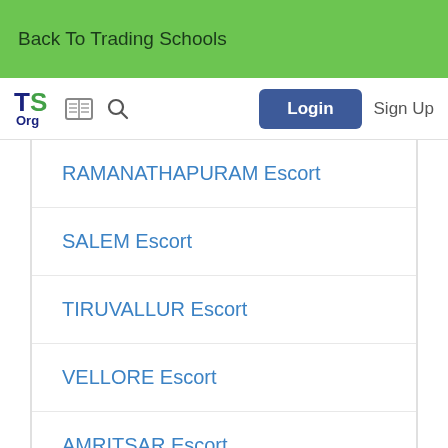Back To Trading Schools
[Figure (logo): TS Org logo with book and search icons, Login button, Sign Up link]
RAMANATHAPURAM Escort
SALEM Escort
TIRUVALLUR Escort
VELLORE Escort
AMRITSAR Escort